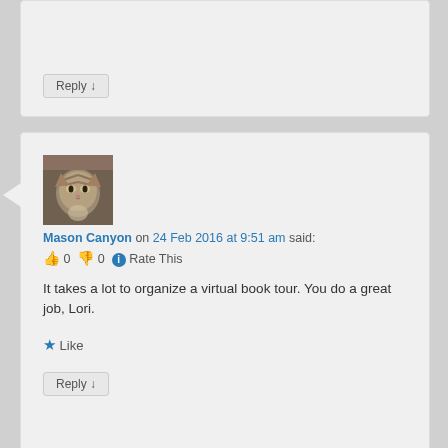Reply ↓
[Figure (photo): Avatar of a tabby cat sitting indoors, gray and white striped cat looking at camera]
Mason Canyon on 24 Feb 2016 at 9:51 am said:
👍 0 👎 0 ℹ Rate This
It takes a lot to organize a virtual book tour. You do a great job, Lori.
★ Like
Reply ↓
[Figure (photo): Partial avatar image visible at bottom, appears to be a bird or dark animal outdoors in snow]